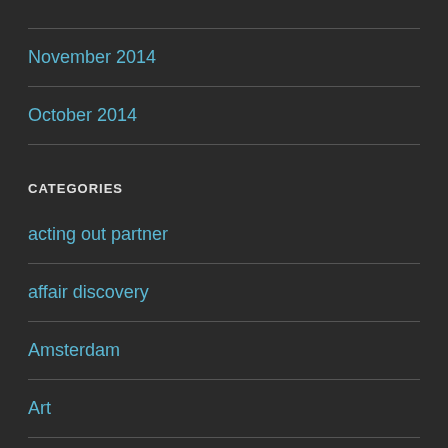November 2014
October 2014
CATEGORIES
acting out partner
affair discovery
Amsterdam
Art